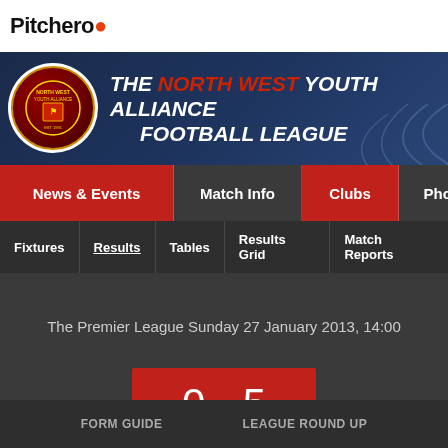Pitchero
[Figure (logo): The North West Youth Alliance Football League banner with badge and title]
News & Events | Match Info | Clubs | Photos | V... | ≡
Fixtures | Results | Tables | Results Grid | Match Reports
The Premier League Sunday 27 January 2013, 14:00
0 - 5
FORM GUIDE    LEAGUE ROUND UP